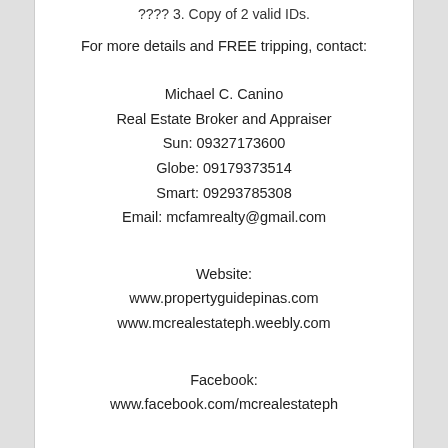???? 3. Copy of 2 valid IDs.
For more details and FREE tripping, contact:
Michael C. Canino
Real Estate Broker and Appraiser
Sun: 09327173600
Globe: 09179373514
Smart: 09293785308
Email: mcfamrealty@gmail.com
Website:
www.propertyguidepinas.com
www.mcrealestateph.weebly.com
Facebook:
www.facebook.com/mcrealestateph